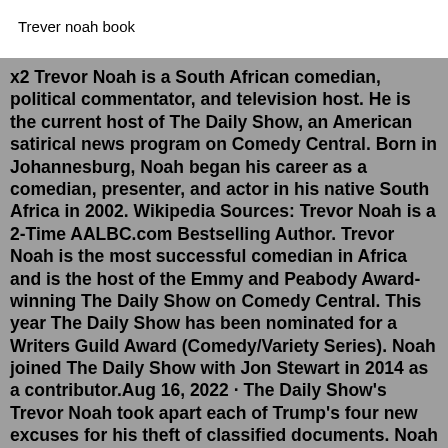Trever noah book
x2 Trevor Noah is a South African comedian, political commentator, and television host. He is the current host of The Daily Show, an American satirical news program on Comedy Central. Born in Johannesburg, Noah began his career as a comedian, presenter, and actor in his native South Africa in 2002. Wikipedia Sources: Trevor Noah is a 2-Time AALBC.com Bestselling Author. Trevor Noah is the most successful comedian in Africa and is the host of the Emmy and Peabody Award-winning The Daily Show on Comedy Central. This year The Daily Show has been nominated for a Writers Guild Award (Comedy/Variety Series). Noah joined The Daily Show with Jon Stewart in 2014 as a contributor.Aug 16, 2022 · The Daily Show's Trevor Noah took apart each of Trump's four new excuses for his theft of classified documents. Noah said of Trump's excuse